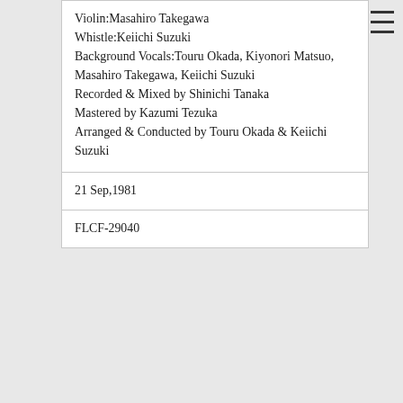Violin:Masahiro Takegawa
Whistle:Keiichi Suzuki
Background Vocals:Touru Okada, Kiyonori Matsuo, Masahiro Takegawa, Keiichi Suzuki
Recorded & Mixed by Shinichi Tanaka
Mastered by Kazumi Tezuka
Arranged & Conducted by Touru Okada & Keiichi Suzuki
21 Sep,1981
FLCF-29040
Heaven Beach
Keyboads Operator:Keishi Urata(EMU)
Trumpet:Shin Kazuhara & his Group
Trombone:Eiji Arai
Saxophone:Takeru Muraoka, Kiyoshi Saito, Shunzo Sunahara
Background Vocals:Kayoko Ishu, Michiko Ogata, Miwako Hiromatsu, Yoshimi Hamada, Yoshiaki Kagawa, Ichizo Seo, Makoto Matsushita,BREAD &